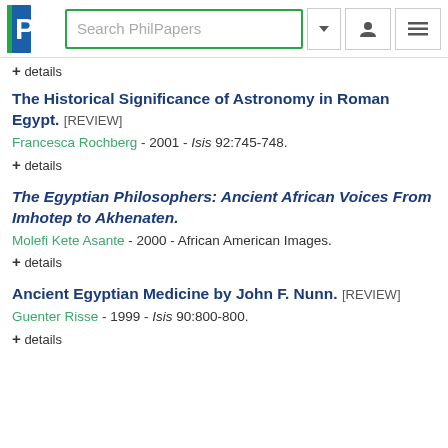Search PhilPapers
+ details
The Historical Significance of Astronomy in Roman Egypt. [REVIEW]
Francesca Rochberg - 2001 - Isis 92:745-748.
+ details
The Egyptian Philosophers: Ancient African Voices From Imhotep to Akhenaten.
Molefi Kete Asante - 2000 - African American Images.
+ details
Ancient Egyptian Medicine by John F. Nunn. [REVIEW]
Guenter Risse - 1999 - Isis 90:800-800.
+ details